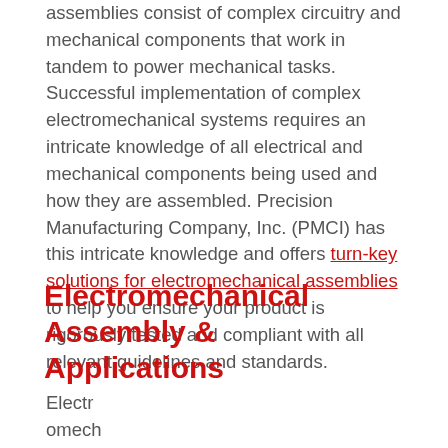assemblies consist of complex circuitry and mechanical components that work in tandem to power mechanical tasks. Successful implementation of complex electromechanical systems requires an intricate knowledge of all electrical and mechanical components being used and how they are assembled. Precision Manufacturing Company, Inc. (PMCI) has this intricate knowledge and offers turn-key solutions for electromechanical assemblies to help you ensure your product is rigorously tested and compliant with all relevant guidelines and standards.
Electromechanical Assembly & Applications
Electromechanical assembly